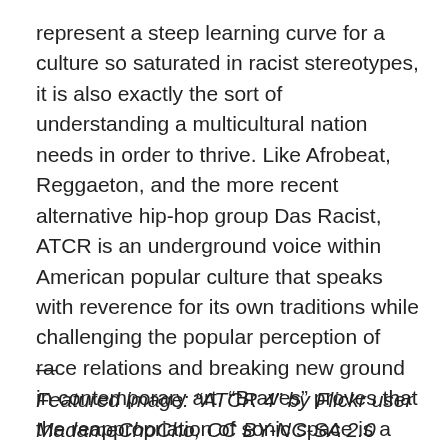represent a steep learning curve for a culture so saturated in racist stereotypes, it is also exactly the sort of understanding a multicultural nation needs in order to thrive. Like Afrobeat, Reggaeton, and the more recent alternative hip-hop group Das Racist, ATCR is an underground voice within American popular culture that speaks with reverence for its own traditions while challenging the popular perception of race relations and breaking new ground in contemporary art. “Braves” proves that the reappropriation of sonic space is a powerful tool in the fight for cultural agency.
—
Featured image: “ATCR 4” by Flickr user MadameChoCho, CC BY-NC-SA 2.0